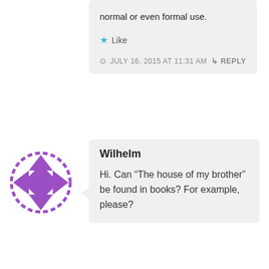normal or even formal use.
Like
JULY 16, 2015 AT 11:31 AM
REPLY
[Figure (illustration): Purple geometric avatar icon — a diamond/square shape with triangular corner pieces in purple and white]
Wilhelm
Hi. Can “The house of my brother” be found in books? For example, please?